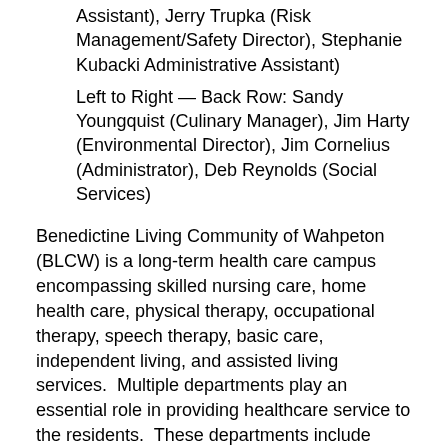Left to Right — Front Row: Mary Hassinger (Wellness Assistant), Jerry Trupka (Risk Management/Safety Director), Stephanie Kubacki Administrative Assistant)
Left to Right — Back Row: Sandy Youngquist (Culinary Manager), Jim Harty (Environmental Director), Jim Cornelius (Administrator), Deb Reynolds (Social Services)
Benedictine Living Community of Wahpeton (BLCW) is a long-term health care campus encompassing skilled nursing care, home health care, physical therapy, occupational therapy, speech therapy, basic care, independent living, and assisted living services.  Multiple departments play an essential role in providing healthcare service to the residents.  These departments include nursing, therapy, culinary, home health, environmental, plant operations, activities, social services, and administration. They are affiliated with the non-profit Benedictine Health System. The Wahpeton campus is divided between two facilities: St. Catherine's Living Center and Siena Court.  St. Catherine's (skilled nursing facility) opened its doors back in 1958, and Siena Court (assisted living and basic care) opened in 2012.  "We changed our name to Benedictine Living Community of Wahpeton in 2017," said Risk Management/Safety Director Jerry Trupka.
Benedictine learned about the Occupational Safety and Health